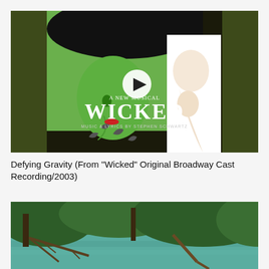[Figure (screenshot): Wicked musical album/video thumbnail showing the iconic Wicked Broadway poster with green-faced witch and white-faced woman in black hat, 'A New Musical WICKED Music & Lyrics by Stephen Schwartz', with a circular play button overlay in the center]
Defying Gravity (From "Wicked" Original Broadway Cast Recording/2003)
[Figure (photo): Nature scene showing turquoise/green water with trees, fallen branches and dense green foliage in the background]